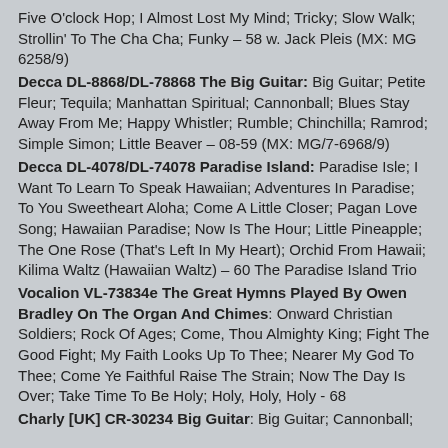Five O'clock Hop; I Almost Lost My Mind; Tricky; Slow Walk; Strollin' To The Cha Cha; Funky – 58 w. Jack Pleis (MX: MG 6258/9)
Decca DL-8868/DL-78868 The Big Guitar: Big Guitar; Petite Fleur; Tequila; Manhattan Spiritual; Cannonball; Blues Stay Away From Me; Happy Whistler; Rumble; Chinchilla; Ramrod; Simple Simon; Little Beaver – 08-59 (MX: MG/7-6968/9)
Decca DL-4078/DL-74078 Paradise Island: Paradise Isle; I Want To Learn To Speak Hawaiian; Adventures In Paradise; To You Sweetheart Aloha; Come A Little Closer; Pagan Love Song; Hawaiian Paradise; Now Is The Hour; Little Pineapple; The One Rose (That's Left In My Heart); Orchid From Hawaii; Kilima Waltz (Hawaiian Waltz) – 60 The Paradise Island Trio
Vocalion VL-73834e The Great Hymns Played By Owen Bradley On The Organ And Chimes: Onward Christian Soldiers; Rock Of Ages; Come, Thou Almighty King; Fight The Good Fight; My Faith Looks Up To Thee; Nearer My God To Thee; Come Ye Faithful Raise The Strain; Now The Day Is Over; Take Time To Be Holy; Holy, Holy, Holy - 68
Charly [UK] CR-30234 Big Guitar: Big Guitar; Cannonball;